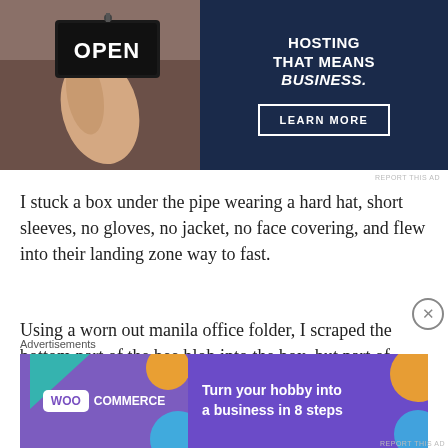[Figure (photo): Advertisement banner: left side shows a person holding an 'OPEN' sign; right side has dark navy background with text 'HOSTING THAT MEANS BUSINESS.' and a 'LEARN MORE' button]
REPORT THIS AD
I stuck a box under the pipe wearing a hard hat, short sleeves, no gloves, no jacket, no face covering, and flew into their landing zone way to fast.
Using a worn out manila office folder, I scraped the bottom part of the bee blob into the box, but part of it fell on the ground by another pipe.  The queen probably wasn't in that part because the docile bees notched up a buzz of anger.  My
Advertisements
[Figure (photo): WooCommerce advertisement: purple background with geometric shapes, WooCommerce logo on left, text 'Turn your hobby into a business in 8 steps' on right]
REPORT THIS AD